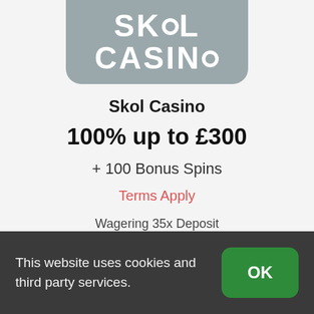[Figure (logo): Skol Casino logo: white bold text 'SKOL CASINO' on a grey rounded rectangle background]
Skol Casino
100% up to £300
+ 100 Bonus Spins
Terms Apply
Wagering 35x Deposit
This website uses cookies and third party services.